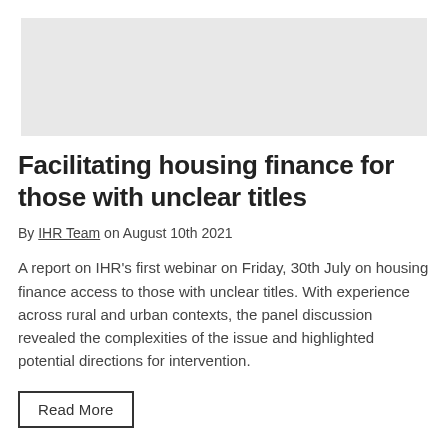[Figure (photo): Gray placeholder image area at the top of the page]
Facilitating housing finance for those with unclear titles
By IHR Team on August 10th 2021
A report on IHR's first webinar on Friday, 30th July on housing finance access to those with unclear titles. With experience across rural and urban contexts, the panel discussion revealed the complexities of the issue and highlighted potential directions for intervention.
Read More